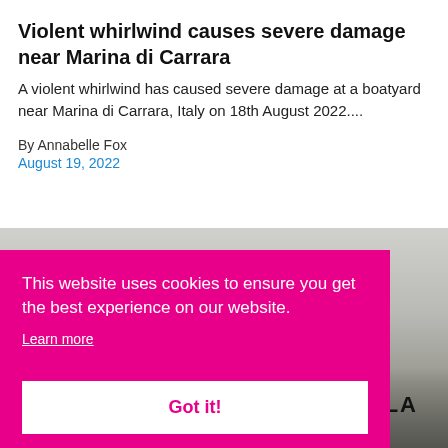Violent whirlwind causes severe damage near Marina di Carrara
A violent whirlwind has caused severe damage at a boatyard near Marina di Carrara, Italy on 18th August 2022....
By Annabelle Fox
August 19, 2022
[Figure (photo): Photograph of damage at a boatyard, overcast sky, boats and structures visible, FILA branding visible]
This website uses cookies to ensure you get the best experience on our website.
Learn more
Got it!